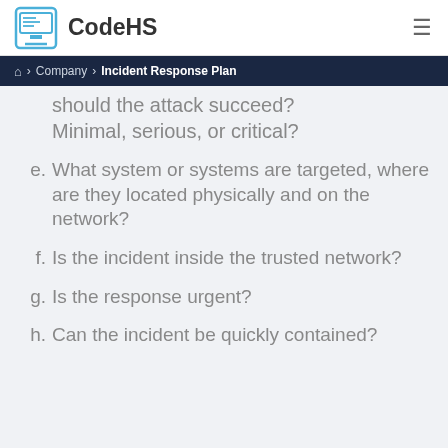CodeHS
Home > Company > Incident Response Plan
should the attack succeed? Minimal, serious, or critical?
e. What system or systems are targeted, where are they located physically and on the network?
f. Is the incident inside the trusted network?
g. Is the response urgent?
h. Can the incident be quickly contained?